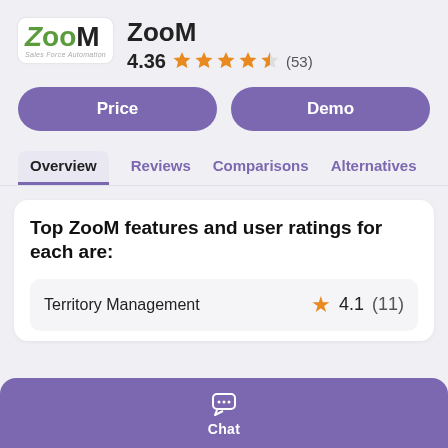[Figure (logo): ZooM Sales Force Automation logo with green and black stylized text]
ZooM
4.36 ★★★★½ (53)
Price
Demo
Overview   Reviews   Comparisons   Alternatives
Top ZooM features and user ratings for each are:
Territory Management  ★ 4.1  (11)
Chat